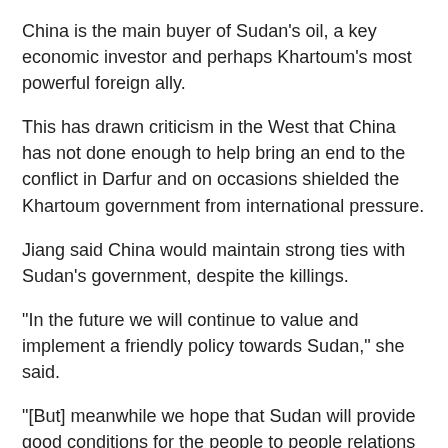China is the main buyer of Sudan's oil, a key economic investor and perhaps Khartoum's most powerful foreign ally.
This has drawn criticism in the West that China has not done enough to help bring an end to the conflict in Darfur and on occasions shielded the Khartoum government from international pressure.
Jiang said China would maintain strong ties with Sudan's government, despite the killings.
"In the future we will continue to value and implement a friendly policy towards Sudan," she said.
"[But] meanwhile we hope that Sudan will provide good conditions for the people to people relations between the two countries."
Kidnappings
The government in Khartoum has labelled JEM a "terrorist"